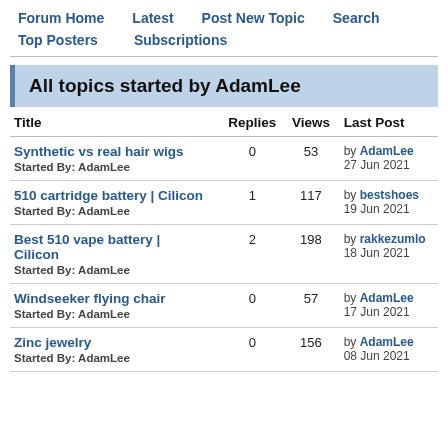Forum Home   Latest   Post New Topic   Search
Top Posters   Subscriptions
All topics started by AdamLee
| Title | Replies | Views | Last Post |
| --- | --- | --- | --- |
| Synthetic vs real hair wigs
Started By: AdamLee | 0 | 53 | by AdamLee
27 Jun 2021 |
| 510 cartridge battery | Cilicon
Started By: AdamLee | 1 | 117 | by bestshoes
19 Jun 2021 |
| Best 510 vape battery | Cilicon
Started By: AdamLee | 2 | 198 | by rakkezumlo
18 Jun 2021 |
| Windseeker flying chair
Started By: AdamLee | 0 | 57 | by AdamLee
17 Jun 2021 |
| Zinc jewelry
Started By: AdamLee | 0 | 156 | by AdamLee
08 Jun 2021 |